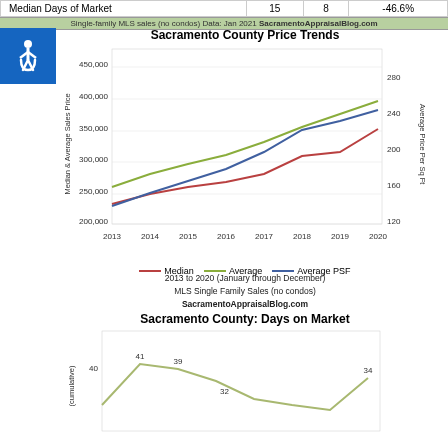| Median Days of Market |  | 15 | 8 | -46.6% |
| --- | --- | --- | --- | --- |
Single-family MLS sales (no condos) Data: Jan 2021 SacramentoAppraisalBlog.com
[Figure (line-chart): Line chart showing Sacramento County price trends 2013-2020 with three lines: Median, Average, and Average PSF]
2013 to 2020 (January through December)
MLS Single Family Sales (no condos)
SacramentoAppraisalBlog.com
[Figure (line-chart): Line chart showing Sacramento County days on market 2013-2020, values include 41, 39, 32, 34]